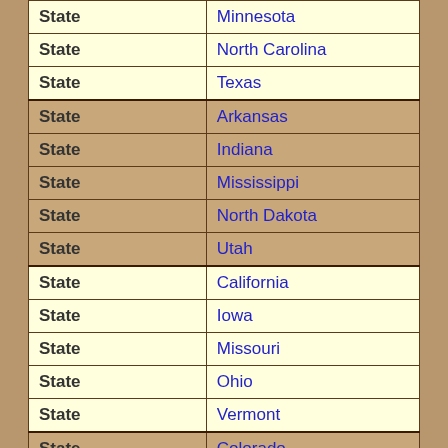| Type | Name |
| --- | --- |
| State | Minnesota |
| State | North Carolina |
| State | Texas |
| State | Arkansas |
| State | Indiana |
| State | Mississippi |
| State | North Dakota |
| State | Utah |
| State | California |
| State | Iowa |
| State | Missouri |
| State | Ohio |
| State | Vermont |
| State | Colorado |
| State | Kansas |